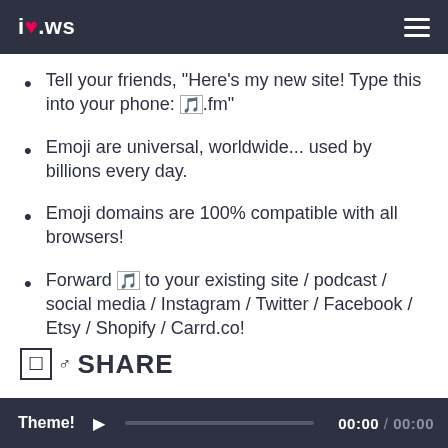i♥.ws
Tell your friends, "Here's my new site! Type this into your phone: 🎵.fm"
Emoji are universal, worldwide... used by billions every day.
Emoji domains are 100% compatible with all browsers!
Forward 🎵 to your existing site / podcast / social media / Instagram / Twitter / Facebook / Etsy / Shopify / Carrd.co!
SHARE
Theme! ▶ 00:00 / 00:00